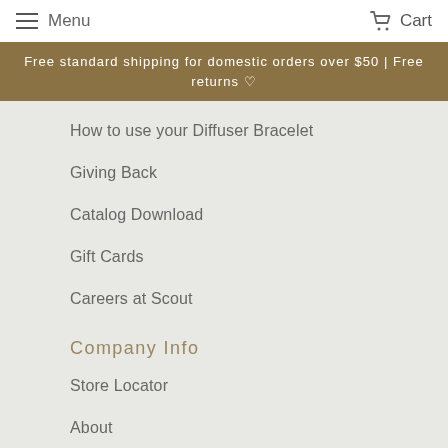Menu  Cart
Free standard shipping for domestic orders over $50 | Free returns ♡
How to use your Diffuser Bracelet
Giving Back
Catalog Download
Gift Cards
Careers at Scout
Company Info
Store Locator
About
Wholesale Inquiries
Wholesale Login
Find a Rep